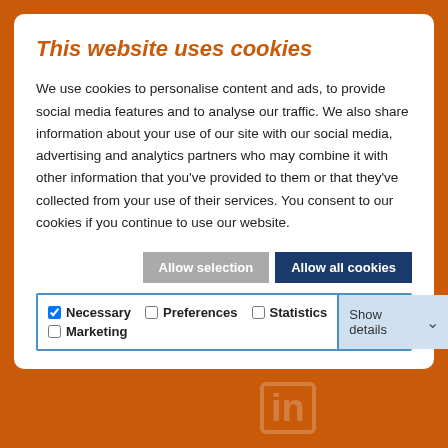This website uses cookies
We use cookies to personalise content and ads, to provide social media features and to analyse our traffic. We also share information about your use of our site with our social media, advertising and analytics partners who may combine it with other information that you've provided to them or that they've collected from your use of their services. You consent to our cookies if you continue to use our website.
Allow selection | Allow all cookies
Necessary  Preferences  Statistics  Marketing  Show details